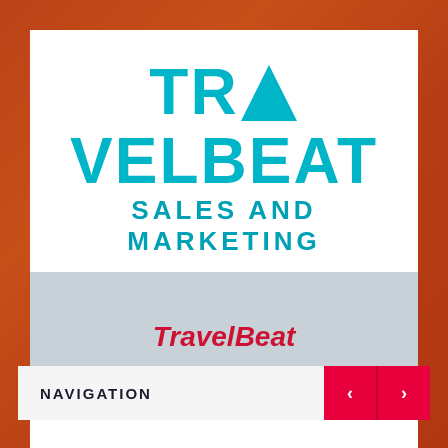TRAVELBEAT SALES AND MARKETING
TravelBeat
NAVIGATION